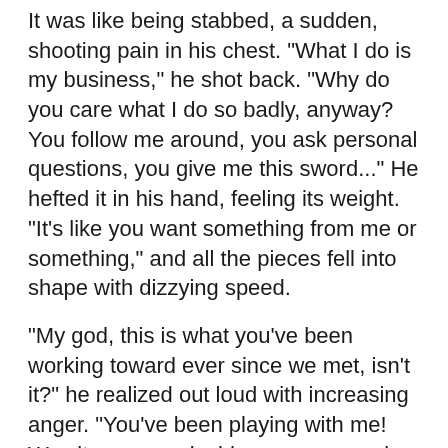It was like being stabbed, a sudden, shooting pain in his chest. "What I do is my business," he shot back. "Why do you care what I do so badly, anyway? You follow me around, you ask personal questions, you give me this sword..." He hefted it in his hand, feeling its weight. "It's like you want something from me or something," and all the pieces fell into shape with dizzying speed.
"My god, this is what you've been working toward ever since we met, isn't it?" he realized out loud with increasing anger. "You've been playing with me! Was it even a coincidence you were in that cave, or had you been hunting me before that?"
"Kai-stern..." Lykouleon said placatingly.
"Shut up! Jesus Christ," Kai-stern said. "All this sweet talk about changing things, but you're just trying to manipulate me. I've had enough of that, thanks, and you